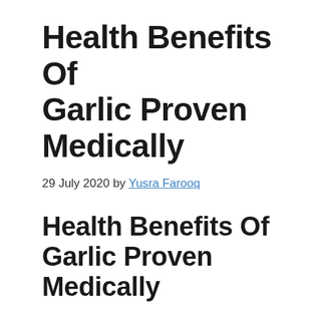Health Benefits Of Garlic Proven Medically
29 July 2020 by Yusra Farooq
Health Benefits Of Garlic Proven Medically
In this pandemic, where normal cold and flu are the symptoms